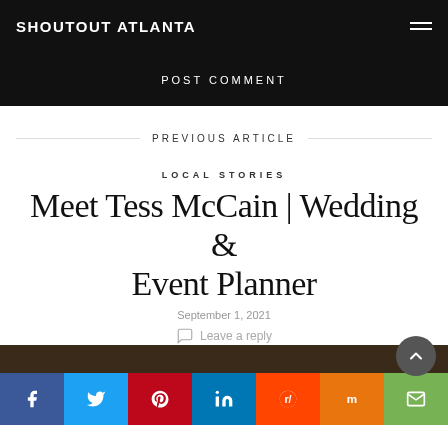SHOUTOUT ATLANTA
POST COMMENT
PREVIOUS ARTICLE
LOCAL STORIES
Meet Tess McCain | Wedding & Event Planner
September 1, 2021
Leave a reply